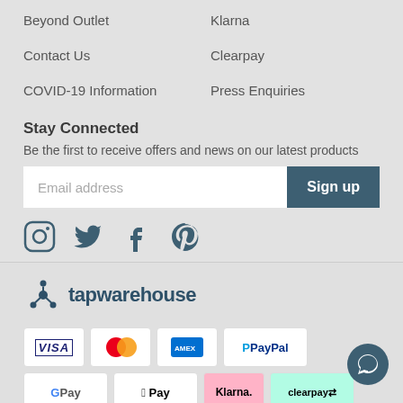Beyond Outlet
Contact Us
COVID-19 Information
Klarna
Clearpay
Press Enquiries
Stay Connected
Be the first to receive offers and news on our latest products
[Figure (screenshot): Email address input field with Sign up button]
[Figure (infographic): Social media icons: Instagram, Twitter, Facebook, Pinterest]
[Figure (logo): tapwarehouse brand logo with atom-style icon]
[Figure (infographic): Payment method badges: Visa, Mastercard, American Express, PayPal, Google Pay, Apple Pay, Klarna, Clearpay]